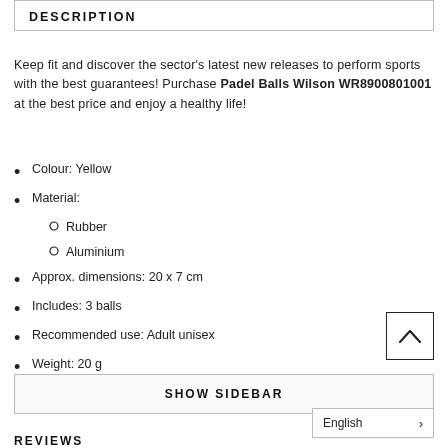DESCRIPTION
Keep fit and discover the sector's latest new releases to perform sports with the best guarantees! Purchase Padel Balls Wilson WR8900801001 at the best price and enjoy a healthy life!
Colour: Yellow
Material:
Rubber
Aluminium
Approx. dimensions: 20 x 7 cm
Includes: 3 balls
Recommended use: Adult unisex
Weight: 20 g
SHOW SIDEBAR
English >
REVIEWS